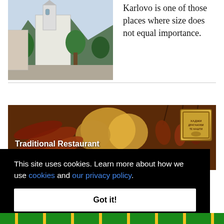[Figure (photo): Photo of a town scene with a white church building, trees, and mountains in the background — Karlovo, Bulgaria]
Karlovo is one of those places where size does not equal importance.
[Figure (photo): Banner image for Traditional Restaurant Hadjidraganovite Kashti showing traditional Bulgarian food items including sausages, breads, and other meats, with a restaurant logo on the right]
This site uses cookies. Learn more about how we use cookies and our privacy policy.
Got it!